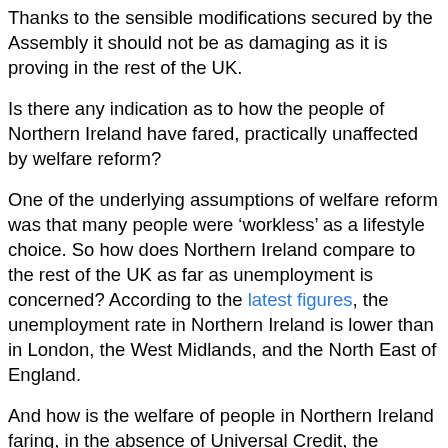Thanks to the sensible modifications secured by the Assembly it should not be as damaging as it is proving in the rest of the UK.
Is there any indication as to how the people of Northern Ireland have fared, practically unaffected by welfare reform?
One of the underlying assumptions of welfare reform was that many people were ‘workless’ as a lifestyle choice. So how does Northern Ireland compare to the rest of the UK as far as unemployment is concerned? According to the latest figures, the unemployment rate in Northern Ireland is lower than in London, the West Midlands, and the North East of England.
And how is the welfare of people in Northern Ireland faring, in the absence of Universal Credit, the bedroom tax and benefit sanctions? According to Trussell Trust figures, foodbank use in Northern Ireland is lower per head of population than in many other regions of the UK. Interestingly the Trust says that the foodbank...